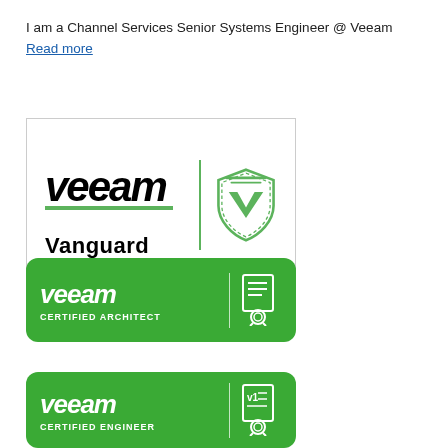I am a Channel Services Senior Systems Engineer @ Veeam Read more
[Figure (logo): Veeam Vanguard badge — white background with black Veeam logo, Vanguard text, green divider line, and green shield icon with V]
[Figure (logo): Veeam Certified Architect badge — green rounded rectangle with white Veeam logo, CERTIFIED ARCHITECT text, divider, and certificate icon]
[Figure (logo): Veeam Certified Engineer badge — green rounded rectangle with white Veeam logo, CERTIFIED ENGINEER text, divider, and certificate icon (partially visible)]